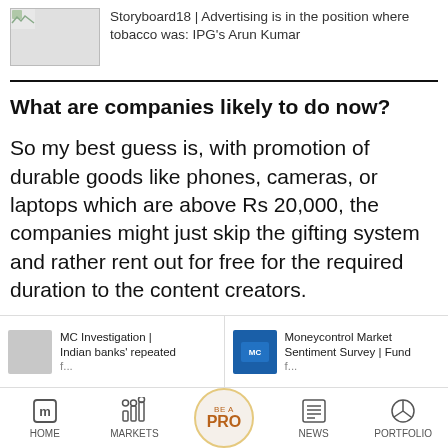[Figure (screenshot): Thumbnail image placeholder (broken image icon) for Storyboard18 article]
Storyboard18 | Advertising is in the position where tobacco was: IPG's Arun Kumar
What are companies likely to do now?
So my best guess is, with promotion of durable goods like phones, cameras, or laptops which are above Rs 20,000, the companies might just skip the gifting system and rather rent out for free for the required duration to the content creators.
[Figure (screenshot): MC Investigation thumbnail - Indian banks' repeated...]
MC Investigation | Indian banks' repeated f...
[Figure (screenshot): Moneycontrol Market Sentiment Survey thumbnail]
Moneycontrol Market Sentiment Survey | Fund f...
HOME   MARKETS   BE A PRO   NEWS   PORTFOLIO